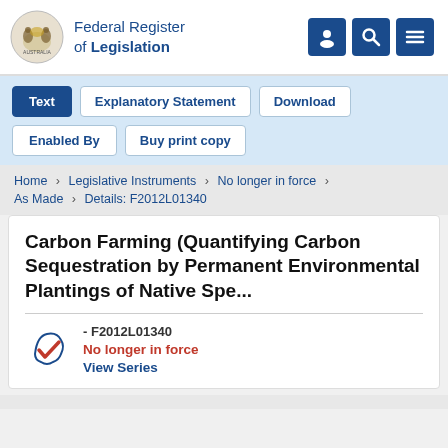Federal Register of Legislation
Text | Explanatory Statement | Download | Enabled By | Buy print copy
Home > Legislative Instruments > No longer in force > As Made > Details: F2012L01340
Carbon Farming (Quantifying Carbon Sequestration by Permanent Environmental Plantings of Native Spe...
- F2012L01340
No longer in force
View Series